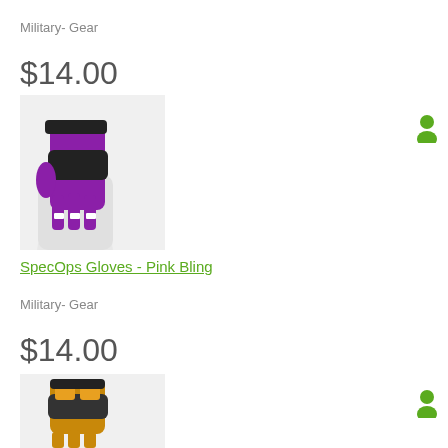Military- Gear
$14.00
[Figure (photo): Purple/pink SpecOps tactical glove with black knuckle protectors and white bling accents on fingers, shown on a white mannequin hand]
SpecOps Gloves - Pink Bling
Military- Gear
$14.00
[Figure (photo): Gold and black tactical glove partially visible at bottom of page]